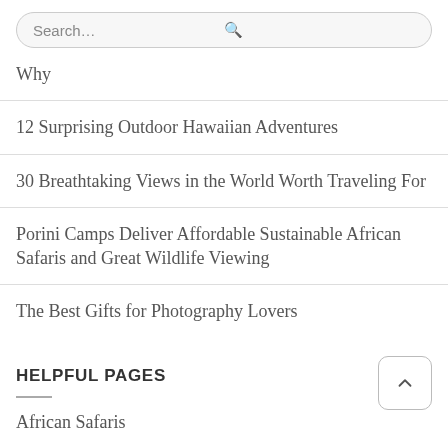Search...
Why
12 Surprising Outdoor Hawaiian Adventures
30 Breathtaking Views in the World Worth Traveling For
Porini Camps Deliver Affordable Sustainable African Safaris and Great Wildlife Viewing
The Best Gifts for Photography Lovers
HELPFUL PAGES
African Safaris